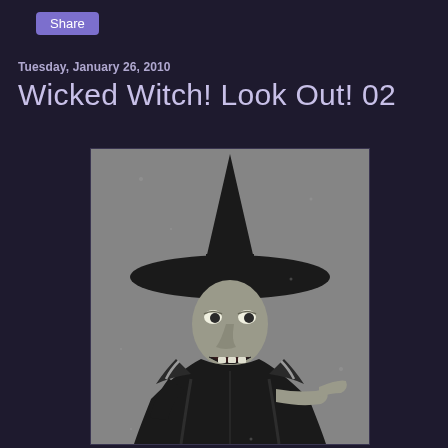Share
Tuesday, January 26, 2010
Wicked Witch! Look Out! 02
[Figure (photo): Black and white photograph of a person dressed as a Wicked Witch, wearing a tall pointed black hat, dark robes, with a menacing expression and pointing finger gesture.]